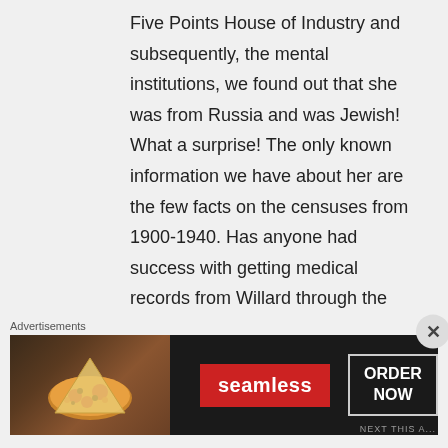Five Points House of Industry and subsequently, the mental institutions, we found out that she was from Russia and was Jewish! What a surprise! The only known information we have about her are the few facts on the censuses from 1900-1940. Has anyone had success with getting medical records from Willard through the route of a living relative? I have the doctor's form but have never followed up on it since I thought it
Advertisements
[Figure (other): Seamless food delivery advertisement banner with pizza image, red Seamless logo button, and ORDER NOW button on dark background]